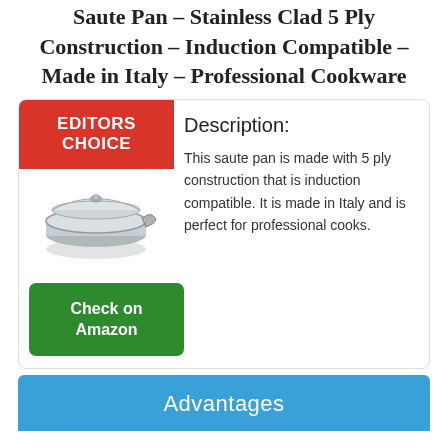Saute Pan – Stainless Clad 5 Ply Construction – Induction Compatible – Made in Italy – Professional Cookware
[Figure (other): Product card with Editors Choice badge, image of a stainless steel saute pan with lid, and a Check on Amazon button]
Description: This saute pan is made with 5 ply construction that is induction compatible. It is made in Italy and is perfect for professional cooks.
Advantages